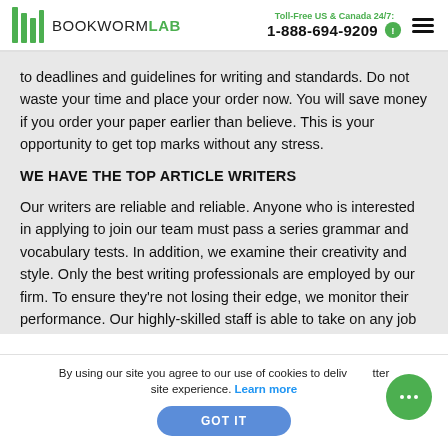BOOKWORMLAB | Toll-Free US & Canada 24/7: 1-888-694-9209
to deadlines and guidelines for writing and standards. Do not waste your time and place your order now. You will save money if you order your paper earlier than believe. This is your opportunity to get top marks without any stress.
WE HAVE THE TOP ARTICLE WRITERS
Our writers are reliable and reliable. Anyone who is interested in applying to join our team must pass a series grammar and vocabulary tests. In addition, we examine their creativity and style. Only the best writing professionals are employed by our firm. To ensure they're not losing their edge, we monitor their performance. Our highly-skilled staff is able to take on any job
By using our site you agree to our use of cookies to deliver a better site experience. Learn more
GOT IT